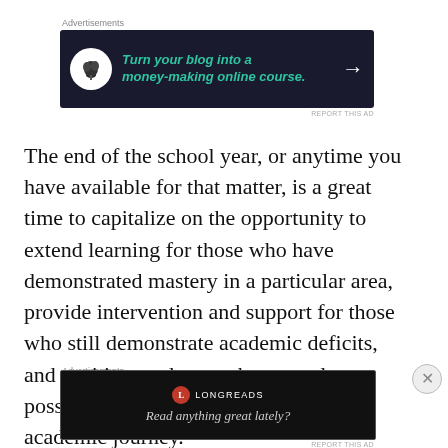Advertisements
[Figure (infographic): Advertisement banner with dark navy background: bonsai tree icon in white circle, teal italic text 'Turn your blog into a money-making online course.' with white arrow pointing right]
The end of the school year, or anytime you have available for that matter, is a great time to capitalize on the opportunity to extend learning for those who have demonstrated mastery in a particular area, provide intervention and support for those who still demonstrate academic deficits, and position students to be as ready as possible for their next step in their academic journey.
Advertisements
[Figure (infographic): Longreads advertisement: black background with Longreads red circle logo and text 'Read anything great lately?']